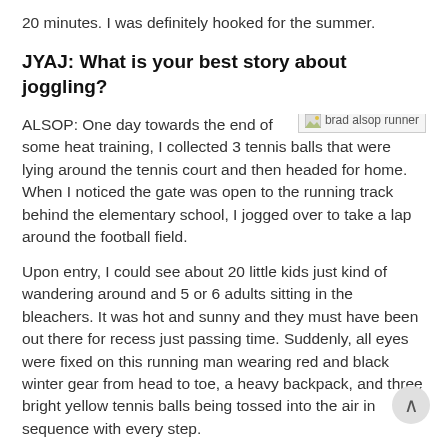20 minutes. I was definitely hooked for the summer.
JYAJ: What is your best story about joggling?
ALSOP: One day towards the end of some heat training, I collected 3 tennis balls that were lying around the tennis court and then headed for home. When I noticed the gate was open to the running track behind the elementary school, I jogged over to take a lap around the football field.
[Figure (photo): Image placeholder showing 'brad alsop runner' alt text with broken image icon]
Upon entry, I could see about 20 little kids just kind of wandering around and 5 or 6 adults sitting in the bleachers. It was hot and sunny and they must have been out there for recess just passing time. Suddenly, all eyes were fixed on this running man wearing red and black winter gear from head to toe, a heavy backpack, and three bright yellow tennis balls being tossed into the air in sequence with every step.
Without hesitation, nearly every child grouped together screaming